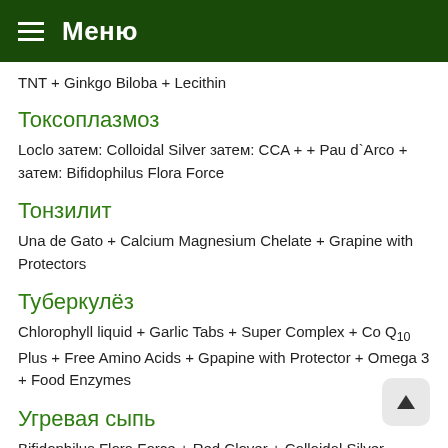Меню
TNT + Ginkgo Biloba + Lecithin
Токсоплазмоз
Loclo затем: Colloidal Silver затем: CCA + + Pau d`Arco + затем: Bifidophilus Flora Force
Тонзилит
Una de Gato + Calcium Magnesium Chelate + Grapine with Protectors
Туберкулёз
Chlorophyll liquid + Garlic Tabs + Super Complex + Co Q10 Plus + Free Amino Acids + Gpapine with Protector + Omega 3 + Food Enzymes
Угревая сыпь
Bifidophilus Flora Force + Red Clover + Colloidal Silver (наружно)